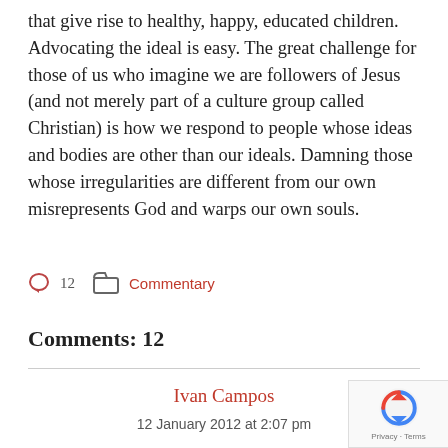that give rise to healthy, happy, educated children. Advocating the ideal is easy. The great challenge for those of us who imagine we are followers of Jesus (and not merely part of a culture group called Christian) is how we respond to people whose ideas and bodies are other than our ideals. Damning those whose irregularities are different from our own misrepresents God and warps our own souls.
💬 12  📁 Commentary
Comments: 12
Ivan Campos
12 January 2012 at 2:07 pm